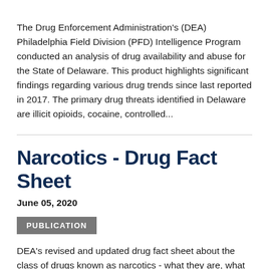The Drug Enforcement Administration's (DEA) Philadelphia Field Division (PFD) Intelligence Program conducted an analysis of drug availability and abuse for the State of Delaware. This product highlights significant findings regarding various drug trends since last reported in 2017. The primary drug threats identified in Delaware are illicit opioids, cocaine, controlled...
Narcotics - Drug Fact Sheet
June 05, 2020
PUBLICATION
DEA's revised and updated drug fact sheet about the class of drugs known as narcotics - what they are, what their origin is, what are the common street